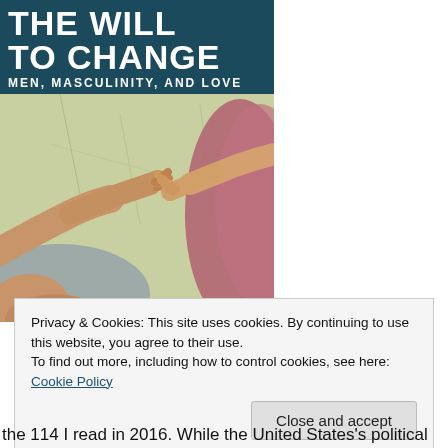[Figure (illustration): Book cover of 'The Will to Change: Men, Masculinity, and Love' with a detail of Michelangelo's Creation of Adam showing two hands nearly touching, on a teal/dark blue background]
Privacy & Cookies: This site uses cookies. By continuing to use this website, you agree to their use.
To find out more, including how to control cookies, see here: Cookie Policy
Close and accept
the 114 I read in 2016. While the United States's political